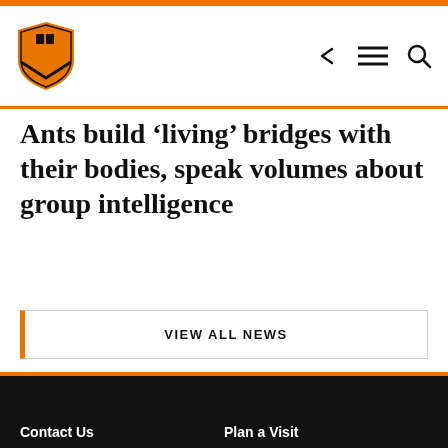Princeton University navigation header with logo and icons
Ants build ‘living’ bridges with their bodies, speak volumes about group intelligence
VIEW ALL NEWS
Contact Us  Plan a Visit